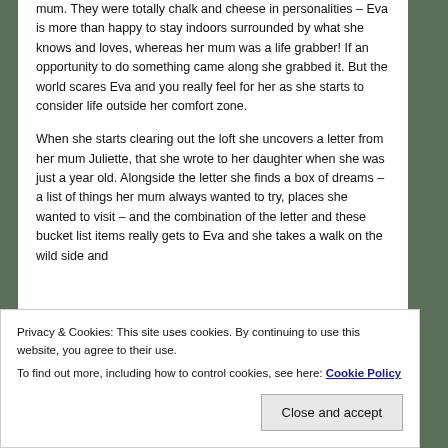mum. They were totally chalk and cheese in personalities – Eva is more than happy to stay indoors surrounded by what she knows and loves, whereas her mum was a life grabber! If an opportunity to do something came along she grabbed it. But the world scares Eva and you really feel for her as she starts to consider life outside her comfort zone.
When she starts clearing out the loft she uncovers a letter from her mum Juliette, that she wrote to her daughter when she was just a year old. Alongside the letter she finds a box of dreams – a list of things her mum always wanted to try, places she wanted to visit – and the combination of the letter and these bucket list items really gets to Eva and she takes a walk on the wild side and
Privacy & Cookies: This site uses cookies. By continuing to use this website, you agree to their use.
To find out more, including how to control cookies, see here: Cookie Policy